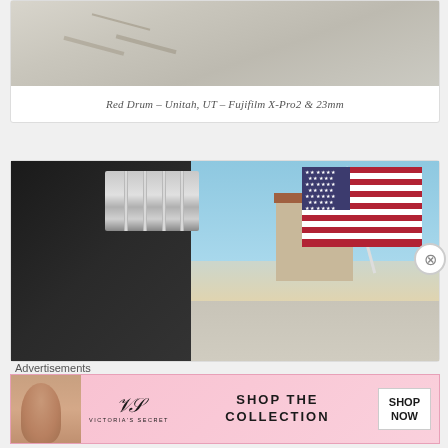[Figure (photo): Partial photo of cracked pavement/sidewalk, top portion of a card]
Red Drum – Unitah, UT – Fujifilm X-Pro2 & 23mm
[Figure (photo): Motorcycle with chrome rear rack and American flag attached, in a suburban setting with blue sky]
Advertisements
[Figure (photo): Victoria's Secret advertisement banner: woman model on left, VS logo, SHOP THE COLLECTION text, SHOP NOW button]